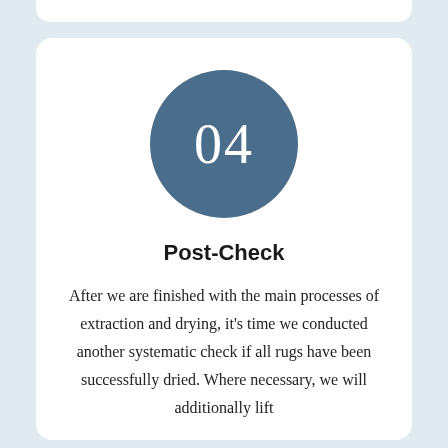[Figure (illustration): A dark steel-blue circle containing the number 04 in white large serif font, serving as a step number indicator.]
Post-Check
After we are finished with the main processes of extraction and drying, it's time we conducted another systematic check if all rugs have been successfully dried. Where necessary, we will additionally lift